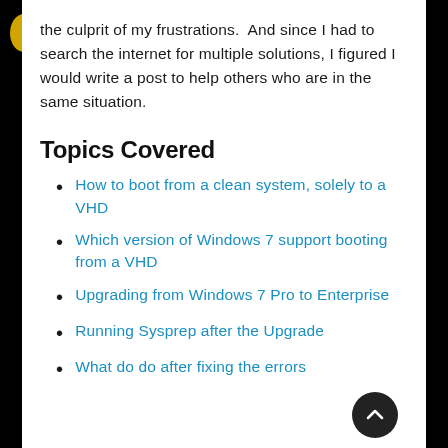the culprit of my frustrations.  And since I had to search the internet for multiple solutions, I figured I would write a post to help others who are in the same situation.
Topics Covered
How to boot from a clean system, solely to a VHD
Which version of Windows 7 support booting from a VHD
Upgrading from Windows 7 Pro to Enterprise
Running Sysprep after the Upgrade
What do do after fixing the errors